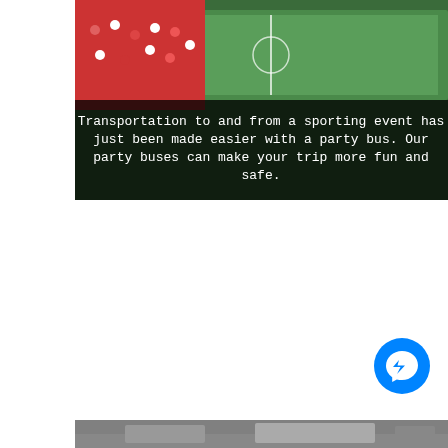[Figure (photo): Aerial view of a crowded football/soccer stadium with red and green colors, fans in stands and green pitch visible]
Transportation to and from a sporting event has just been made easier with a party bus. Our party buses can make your trip more fun and safe.
[Figure (illustration): Blue circular Facebook Messenger chat button with lightning bolt / speech bubble icon]
[Figure (photo): Partial bottom strip showing another image — appears to be another stadium or event photo, mostly cropped]